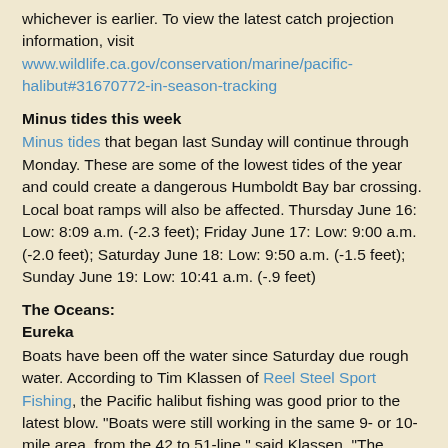whichever is earlier. To view the latest catch projection information, visit www.wildlife.ca.gov/conservation/marine/pacific-halibut#31670772-in-season-tracking
Minus tides this week
Minus tides that began last Sunday will continue through Monday. These are some of the lowest tides of the year and could create a dangerous Humboldt Bay bar crossing. Local boat ramps will also be affected. Thursday June 16: Low: 8:09 a.m. (-2.3 feet); Friday June 17: Low: 9:00 a.m. (-2.0 feet); Saturday June 18: Low: 9:50 a.m. (-1.5 feet); Sunday June 19: Low: 10:41 a.m. (-.9 feet)
The Oceans:
Eureka
Boats have been off the water since Saturday due rough water. According to Tim Klassen of Reel Steel Sport Fishing, the Pacific halibut fishing was good prior to the latest blow. "Boats were still working in the same 9- or 10-mile area, from the 42 to 51-line," said Klassen. "The biggest issue remains the number of black cod that you have to deal with. There doesn't seem to be any shortage of halibut."
Trinidad
According to Curt Wilson of Wind Rose Charters, the halibut bite is